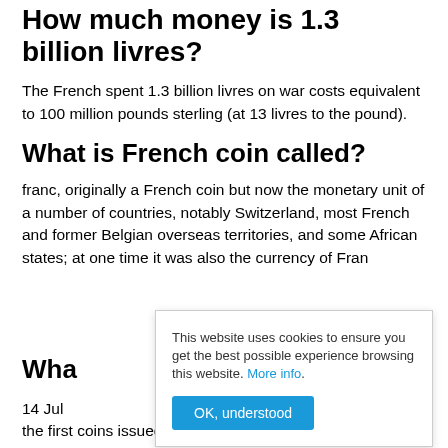How much money is 1.3 billion livres?
The French spent 1.3 billion livres on war costs equivalent to 100 million pounds sterling (at 13 livres to the pound).
What is French coin called?
franc, originally a French coin but now the monetary unit of a number of countries, notably Switzerland, most French and former Belgian overseas territories, and some African states; at one time it was also the currency of Fran
Wha
14 Jul
the first coins issued by the Republic of France after the